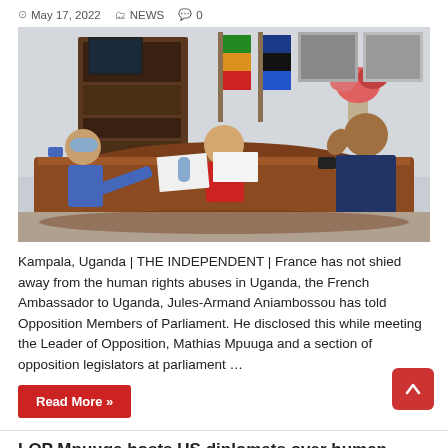May 17, 2022  NEWS  0
[Figure (photo): Three people seated around a large wooden meeting table in an office. A person in red sits at the head of the table. A man in a blue suit with a mask sits on the left. A man in a dark blue suit sits on the right with his hand raised. Flags and a bookcase are visible in the background.]
Kampala, Uganda | THE INDEPENDENT | France has not shied away from the human rights abuses in Uganda, the French Ambassador to Uganda, Jules-Armand Aniambossou has told Opposition Members of Parliament. He disclosed this while meeting the Leader of Opposition, Mathias Mpuuga and a section of opposition legislators at parliament …
Read More »
LOP Mpuuga hosts US diplomats over human...